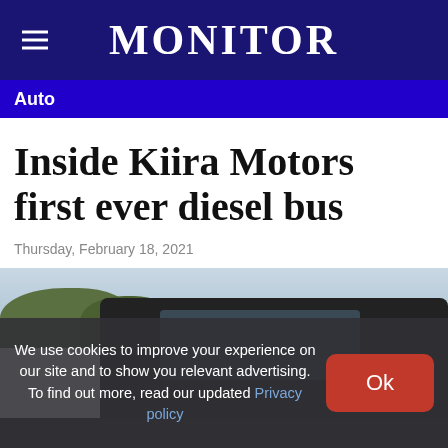MONITOR
Auto
Inside Kiira Motors first ever diesel bus
Thursday, February 18, 2021
[Figure (photo): Exterior view of a bus with trees and sky in background]
We use cookies to improve your experience on our site and to show you relevant advertising. To find out more, read our updated Privacy policy